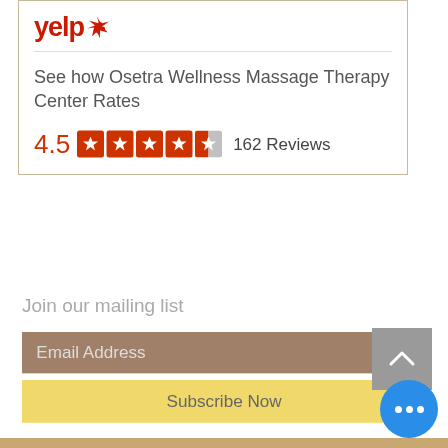[Figure (screenshot): Yelp logo and rating card for Osetra Wellness Massage Therapy Center showing 4.5 stars and 162 reviews]
See how Osetra Wellness Massage Therapy Center Rates
4.5  162 Reviews
Join our mailing list
Email Address
Subscribe Now